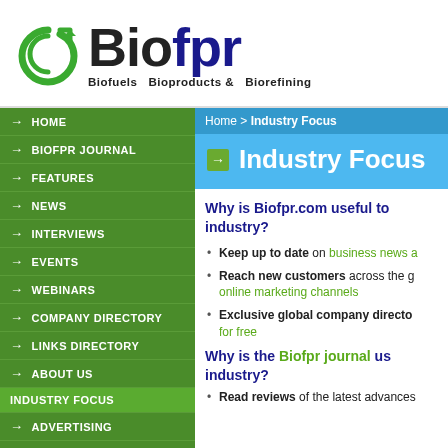[Figure (logo): Biofpr logo with green leaf icon and text 'Biofuels Bioproducts & Biorefining']
HOME
BIOFPR JOURNAL
FEATURES
NEWS
INTERVIEWS
EVENTS
WEBINARS
COMPANY DIRECTORY
LINKS DIRECTORY
ABOUT US
INDUSTRY FOCUS
ADVERTISING
Home > Industry Focus
Industry Focus
Why is Biofpr.com useful to industry?
Keep up to date on business news a...
Reach new customers across the g... online marketing channels
Exclusive global company director... for free
Why is the Biofpr journal useful to industry?
Read reviews of the latest advances...